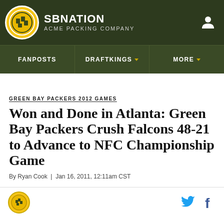SB NATION — ACME PACKING COMPANY
GREEN BAY PACKERS 2012 GAMES
Won and Done in Atlanta: Green Bay Packers Crush Falcons 48-21 to Advance to NFC Championship Game
By Ryan Cook | Jan 16, 2011, 12:11am CST